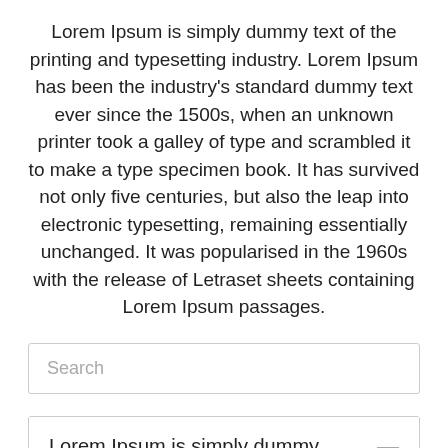Lorem Ipsum is simply dummy text of the printing and typesetting industry. Lorem Ipsum has been the industry's standard dummy text ever since the 1500s, when an unknown printer took a galley of type and scrambled it to make a type specimen book. It has survived not only five centuries, but also the leap into electronic typesetting, remaining essentially unchanged. It was popularised in the 1960s with the release of Letraset sheets containing Lorem Ipsum passages.
Search
Lorem Ipsum is simply dummy
Lorem Ipsum is simply dummy text of the printing and typesetting industry. Lorem Ipsum has been the industry's standard